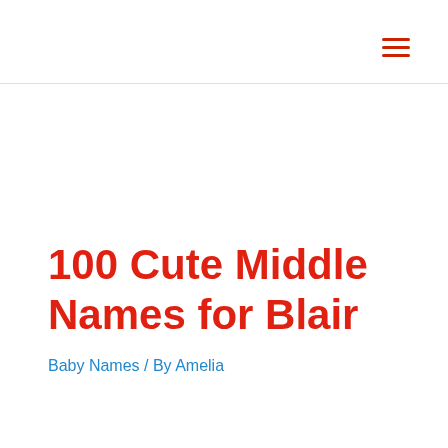100 Cute Middle Names for Blair
Baby Names / By Amelia